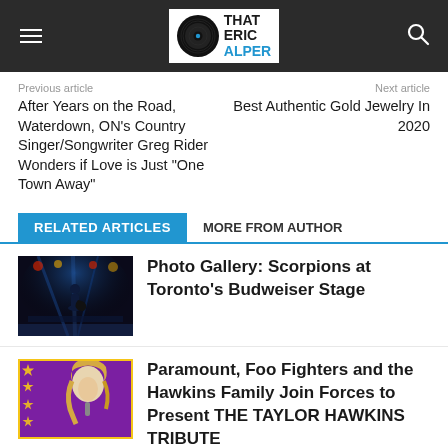That Eric Alper
Previous article
Next article
After Years on the Road, Waterdown, ON’s Country Singer/Songwriter Greg Rider Wonders if Love is Just “One Town Away”
Best Authentic Gold Jewelry In 2020
RELATED ARTICLES
MORE FROM AUTHOR
[Figure (photo): Concert photo: Scorpions performing on stage with blue lighting at Toronto’s Budweiser Stage]
Photo Gallery: Scorpions at Toronto’s Budweiser Stage
[Figure (photo): Album or promotional image: Taylor Hawkins tribute, featuring a blonde woman with stars on pink/purple background]
Paramount, Foo Fighters and the Hawkins Family Join Forces to Present THE TAYLOR HAWKINS TRIBUTE